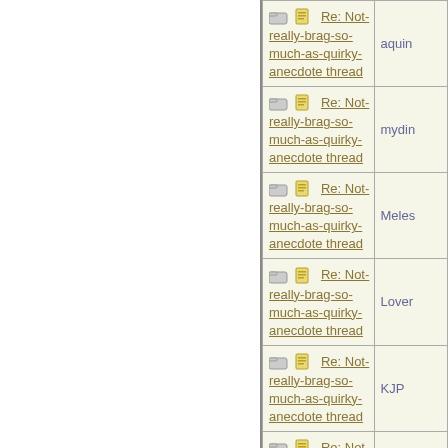| Subject | Author |
| --- | --- |
| Re: Not-really-brag-so-much-as-quirky-anecdote thread | aquin |
| Re: Not-really-brag-so-much-as-quirky-anecdote thread | mydin |
| Re: Not-really-brag-so-much-as-quirky-anecdote thread | Meles |
| Re: Not-really-brag-so-much-as-quirky-anecdote thread | Lover |
| Re: Not-really-brag-so-much-as-quirky-anecdote thread | KJP |
| Re: Not-really-brag-so-much-as-quirky-anecdote thread | Howl |
| Re: Not-really-brag-so-much-as-quirky-anecdote thread | aquin |
| Re: Not-really-brag-so-much-as-quirky-anecdote thread | Howl |
| Re: Not-really-brag-so-much-as-quirky-anecdote thread |  |